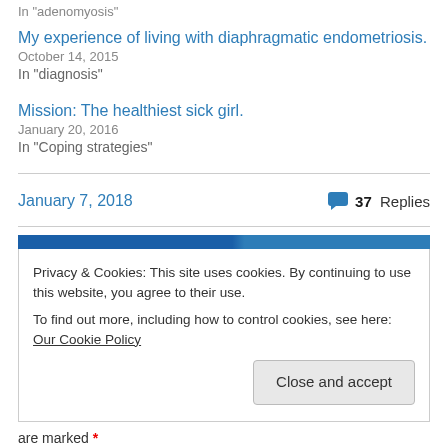In "adenomyosis"
My experience of living with diaphragmatic endometriosis.
October 14, 2015
In "diagnosis"
Mission: The healthiest sick girl.
January 20, 2016
In "Coping strategies"
January 7, 2018
37 Replies
Privacy & Cookies: This site uses cookies. By continuing to use this website, you agree to their use. To find out more, including how to control cookies, see here: Our Cookie Policy
Close and accept
are marked *